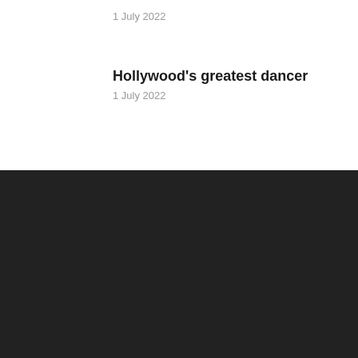1 July 2022
Hollywood's greatest dancer
1 July 2022